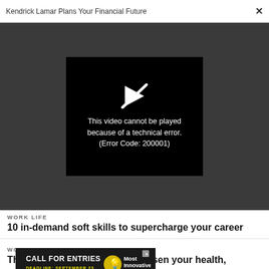Kendrick Lamar Plans Your Financial Future
[Figure (screenshot): Video player showing error: This video cannot be played because of a technical error. (Error Code: 200001)]
WORK LIFE
10 in-demand soft skills to supercharge your career
WORK LIFE
This his how job stress can worsen your health, according to science
[Figure (infographic): Advertisement banner: CALL FOR ENTRIES DEADLINE: SEPTEMBER 23 - Most Innovative Companies]